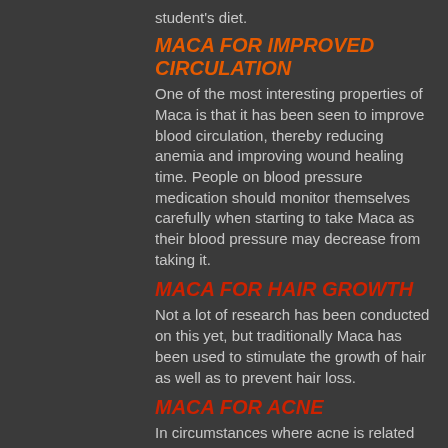student's diet.
MACA FOR IMPROVED CIRCULATION
One of the most interesting properties of Maca is that it has been seen to improve blood circulation, thereby reducing anemia and improving wound healing time. People on blood pressure medication should monitor themselves carefully when starting to take Maca as their blood pressure may decrease from taking it.
MACA FOR HAIR GROWTH
Not a lot of research has been conducted on this yet, but traditionally Maca has been used to stimulate the growth of hair as well as to prevent hair loss.
MACA FOR ACNE
In circumstances where acne is related to an imbalance of hormones, taking